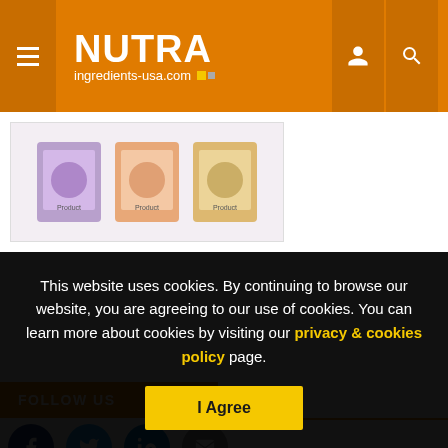NUTRA ingredients-usa.com
[Figure (photo): Three product packages displayed side by side]
FOLLOW US
[Figure (infographic): Social media icons: Facebook, Twitter, LinkedIn, Email]
This website uses cookies. By continuing to browse our website, you are agreeing to our use of cookies. You can learn more about cookies by visiting our privacy & cookies policy page.
I Agree